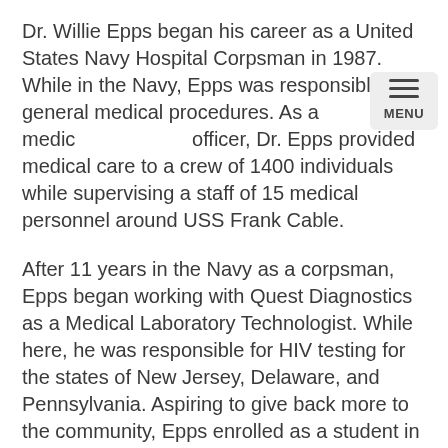Dr. Willie Epps began his career as a United States Navy Hospital Corpsman in 1987. While in the Navy, Epps was responsible for general medical procedures. As a medic officer, Dr. Epps provided medical care to a crew of 1400 individuals while supervising a staff of 15 medical personnel around USS Frank Cable.
After 11 years in the Navy as a corpsman, Epps began working with Quest Diagnostics as a Medical Laboratory Technologist. While here, he was responsible for HIV testing for the states of New Jersey, Delaware, and Pennsylvania. Aspiring to give back more to the community, Epps enrolled as a student in the doctoral program at Philadelphia College of Osteopathic Medicine in 1999.